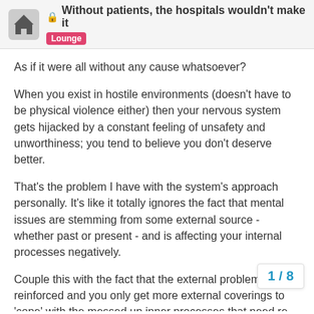Without patients, the hospitals wouldn't make it — Lounge
As if it were all without any cause whatsoever?
When you exist in hostile environments (doesn't have to be physical violence either) then your nervous system gets hijacked by a constant feeling of unsafety and unworthiness; you tend to believe you don't deserve better.
That's the problem I have with the system's approach personally. It's like it totally ignores the fact that mental issues are stemming from some external source - whether past or present - and is affecting your internal processes negatively.
Couple this with the fact that the external problem gets reinforced and you only get more external coverings to 'cope' with the messed up inner processes that need re-working.
I wouldn't mind therapy, but everything I read on forums seems to reinforce the idea (at least in me) that th isn't working for many. It leaves some feeli
1 / 8